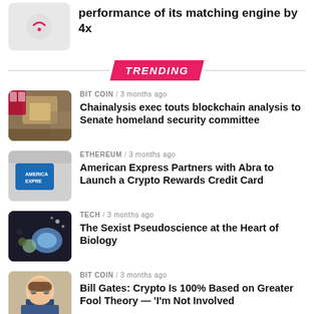performance of its matching engine by 4x
TRENDING
BIT COIN / 3 months ago — Chainalysis exec touts blockchain analysis to Senate homeland security committee
ETHEREUM / 3 months ago — American Express Partners with Abra to Launch a Crypto Rewards Credit Card
TECH / 3 months ago — The Sexist Pseudoscience at the Heart of Biology
BIT COIN / 3 months ago — Bill Gates: Crypto Is 100% Based on Greater Fool Theory — 'I'm Not Involved